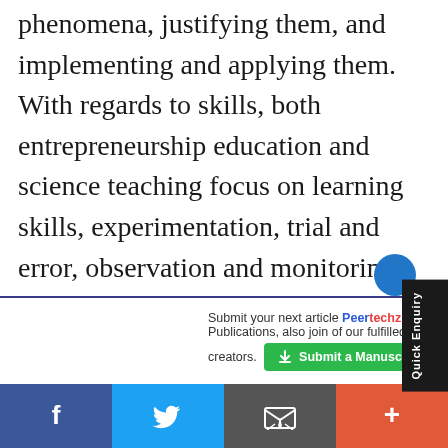phenomena, justifying them, and implementing and applying them. With regards to skills, both entrepreneurship education and science teaching focus on learning skills, experimentation, trial and error, observation and monitoring, identifying resources, analyzing data, drawing conclusions, and promoting and communicating findings and ideas. Finally, both entrepreneurship and science teaching relies on the
[Figure (other): Quick Enquiry vertical sidebar tab on the right edge]
[Figure (other): Peertechz Submit a Manuscript advertisement bar with green button]
[Figure (other): Social sharing bar with Facebook, Twitter, Email, and Plus buttons]